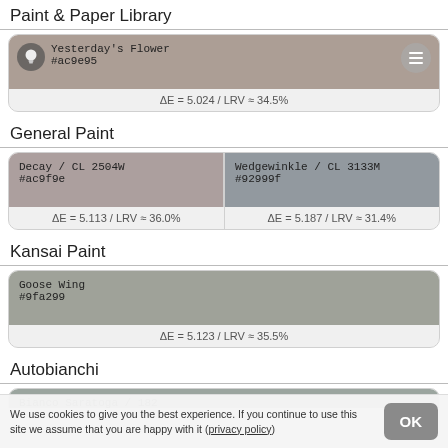Paint & Paper Library
[Figure (other): Color swatch card: Yesterday's Flower, #ac9e95, ΔE = 5.024 / LRV ≈ 34.5%]
General Paint
[Figure (other): Two color swatch cards side by side: Decay / CL 2504W #ac9f9e ΔE = 5.113 / LRV ≈ 36.0% | Wedgewinkle / CL 3133M #92999f ΔE = 5.187 / LRV ≈ 31.4%]
Kansai Paint
[Figure (other): Color swatch card: Goose Wing, #9fa299, ΔE = 5.123 / LRV ≈ 35.5%]
Autobianchi
[Figure (other): Color swatch card: Bianco Saratoga / 182, #9ba59f, partially visible]
We use cookies to give you the best experience. If you continue to use this site we assume that you are happy with it (privacy policy)